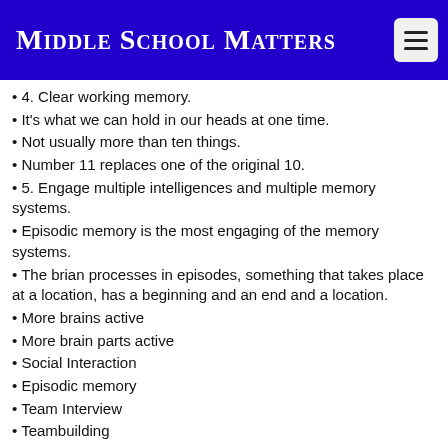Middle School Matters
4. Clear working memory.
It's what we can hold in our heads at one time.
Not usually more than ten things.
Number 11 replaces one of the original 10.
5. Engage multiple intelligences and multiple memory systems.
Episodic memory is the most engaging of the memory systems.
The brian processes in episodes, something that takes place at a location, has a beginning and an end and a location.
More brains active
More brain parts active
Social Interaction
Episodic memory
Team Interview
Teambuilding
Favorite snacks
anything fun will serve as a teambuilder
Ways to spend $1000.
Fun things to do after schooll
Movies you have liked.